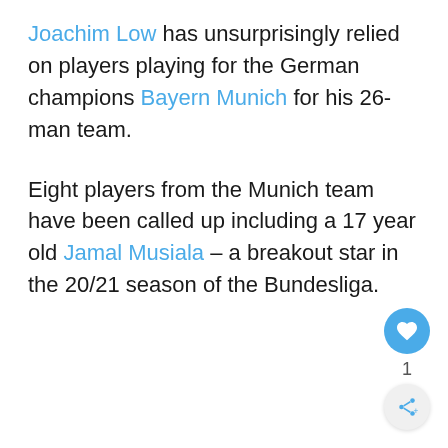Joachim Low has unsurprisingly relied on players playing for the German champions Bayern Munich for his 26-man team.
Eight players from the Munich team have been called up including a 17 year old Jamal Musiala – a breakout star in the 20/21 season of the Bundesliga.